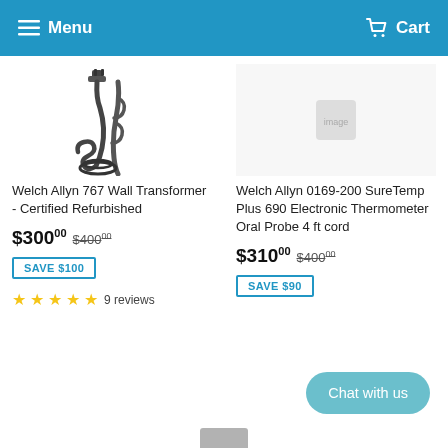Menu   Cart
[Figure (photo): Black coiled cord/cable with plug for Welch Allyn 767 Wall Transformer]
Welch Allyn 767 Wall Transformer - Certified Refurbished
$300.00  $400.00
SAVE $100
★★★★★  9 reviews
Welch Allyn 0169-200 SureTemp Plus 690 Electronic Thermometer Oral Probe 4 ft cord
$310.00  $400.00
SAVE $90
Chat with us